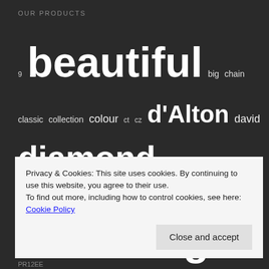OUR PRODUCTS
[Figure (infographic): Tag cloud of product-related keywords in varying font sizes on dark background, including: 9, beautiful, big, chain, classic, collection, colour, ct, cz, d'Alton, david, diamond, drop, earring, earrings, Elements, Gold, Fashion, Fred Bennett, gift, gold, half, heavy, hoop, Hot Diamonds, jewellery, jones, ladies, luxury, mens, mens rings, necklace, necklaces, pendant, preston, rhodium, ring, rings, rose, silver, special, stud, unique, watch, white]
Privacy & Cookies: This site uses cookies. By continuing to use this website, you agree to their use.
To find out more, including how to control cookies, see here: Cookie Policy
PR12EE